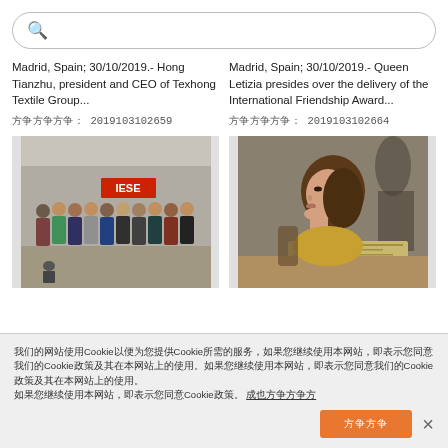搜索
Madrid, Spain; 30/10/2019.- Hong Tianzhu, president and CEO of Texhong Textile Group...
编辑编辑编辑: 2019103102659
Madrid, Spain; 30/10/2019.- Queen Letizia presides over the delivery of the International Friendship Award...
编辑编辑编辑: 2019103102664
[Figure (photo): Group photo at IESE event, people standing in a row holding certificates]
[Figure (photo): Side profile of a woman with brown hair looking to the right]
我们的网站使用Cookie以便为您提供Cookie所需的服务，如果您继续使用本网站，即表示您同意我们的Cookie政策及其在本网站上的使用。 了解更多信息
接受并关闭